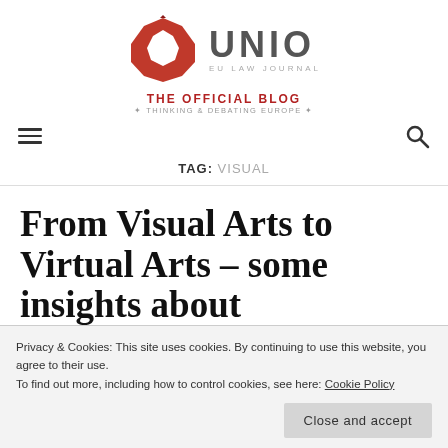[Figure (logo): UNIO EU Law Journal logo with red geometric octagon shape and text 'UNIO EU LAW JOURNAL']
THE OFFICIAL BLOG
✦ THINKING & DEBATING EUROPE ✦
TAG: VISUAL
From Visual Arts to Virtual Arts – some insights about
Privacy & Cookies: This site uses cookies. By continuing to use this website, you agree to their use.
To find out more, including how to control cookies, see here: Cookie Policy